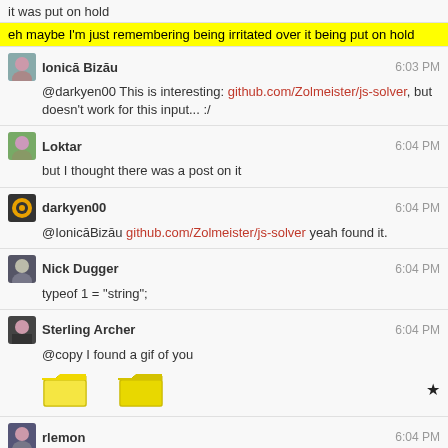it was put on hold
eh maybe I'm just remembering being irritated over it being put on hold
Ionicā Bizāu  6:03 PM
@darkyen00 This is interesting: github.com/Zolmeister/js-solver, but doesn't work for this input... :/
Loktar  6:04 PM
but I thought there was a post on it
darkyen00  6:04 PM
@IonicāBizāu github.com/Zolmeister/js-solver yeah found it.
Nick Dugger  6:04 PM
typeof 1 = "string";
Sterling Archer  6:04 PM
@copy I found a gif of you
[Figure (illustration): Two yellow folder emoji icons]
rlemon  6:04 PM
imgur.com/gallery/2NqfVmh
Sterling Archer  6:04 PM
Is this considered a leaked nude? ._.